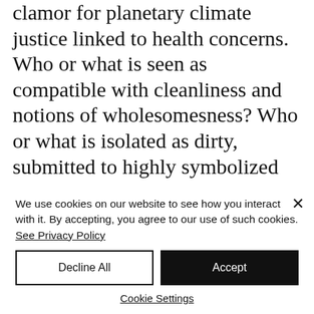clamor for planetary climate justice linked to health concerns. Who or what is seen as compatible with cleanliness and notions of wholesomesness? Who or what is isolated as dirty, submitted to highly symbolized standards of hygiene? These questions can help us detect what has escaped even the most indignant among us, those who gauge the responsible
We use cookies on our website to see how you interact with it. By accepting, you agree to our use of such cookies. See Privacy Policy
Decline All
Accept
Cookie Settings